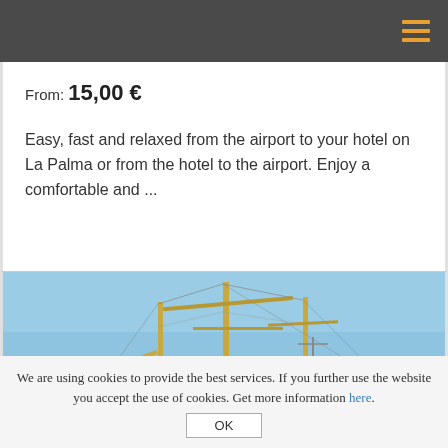Navigation menu header bar
From: 15,00 €
Easy, fast and relaxed from the airport to your hotel on La Palma or from the hotel to the airport. Enjoy a comfortable and ...
[Figure (photo): Photo of a sailing ship/boat with tall masts against a blue sky, with an orange 'High Demand' badge overlay in the top right corner]
We are using cookies to provide the best services. If you further use the website you accept the use of cookies. Get more information here.